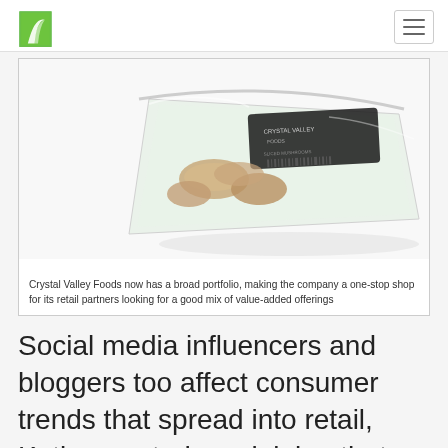[Logo: Crystal Valley Foods] [Hamburger menu icon]
[Figure (photo): A clear plastic clamshell container of mushrooms with a dark label/sticker on a white background, photographed at an angle.]
Crystal Valley Foods now has a broad portfolio, making the company a one-stop shop for its retail partners looking for a good mix of value-added offerings
Social media influencers and bloggers too affect consumer trends that spread into retail, Katiana noted, explaining that shoppers are becoming excitedly adventurous when they walk down